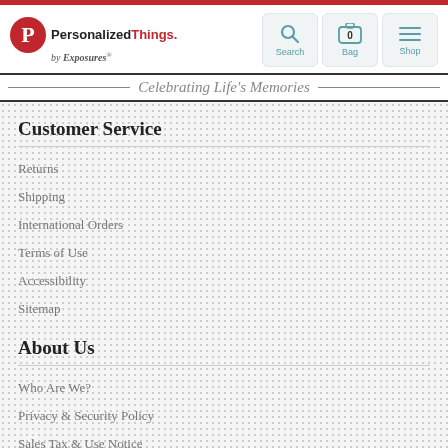PersonalizedThings by Exposures — Celebrating Life's Memories
Customer Service
Returns
Shipping
International Orders
Terms of Use
Accessibility
Sitemap
About Us
Who Are We?
Privacy & Security Policy
Sales Tax & Use Notice